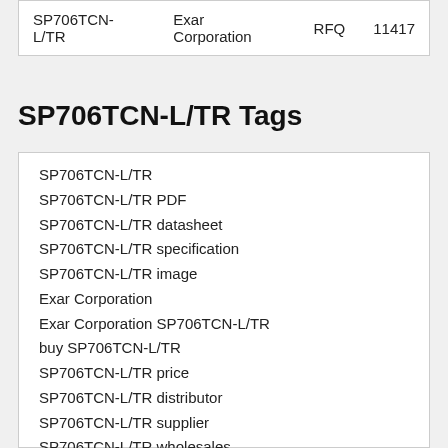| SP706TCN-L/TR | Exar Corporation | RFQ | 11417 |
SP706TCN-L/TR Tags
SP706TCN-L/TR
SP706TCN-L/TR PDF
SP706TCN-L/TR datasheet
SP706TCN-L/TR specification
SP706TCN-L/TR image
Exar Corporation
Exar Corporation SP706TCN-L/TR
buy SP706TCN-L/TR
SP706TCN-L/TR price
SP706TCN-L/TR distributor
SP706TCN-L/TR supplier
SP706TCN-L/TR wholesales